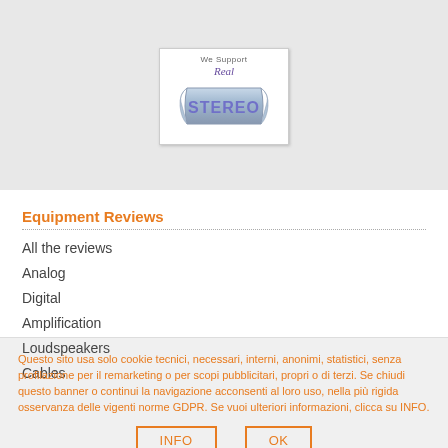[Figure (logo): We Support Real STEREO badge logo with ribbon/scroll design in blue/silver tones]
Equipment Reviews
All the reviews
Analog
Digital
Amplification
Loudspeakers
Cables
Questo sito usa solo cookie tecnici, necessari, interni, anonimi, statistici, senza profilazione per il remarketing o per scopi pubblicitari, propri o di terzi. Se chiudi questo banner o continui la navigazione acconsenti al loro uso, nella più rigida osservanza delle vigenti norme GDPR. Se vuoi ulteriori informazioni, clicca su INFO.
INFO   OK